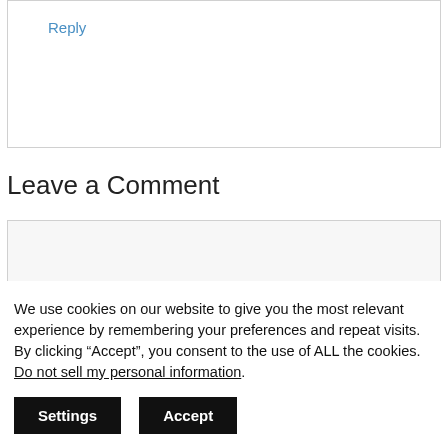Reply
Leave a Comment
We use cookies on our website to give you the most relevant experience by remembering your preferences and repeat visits. By clicking “Accept”, you consent to the use of ALL the cookies. Do not sell my personal information.
Settings Accept